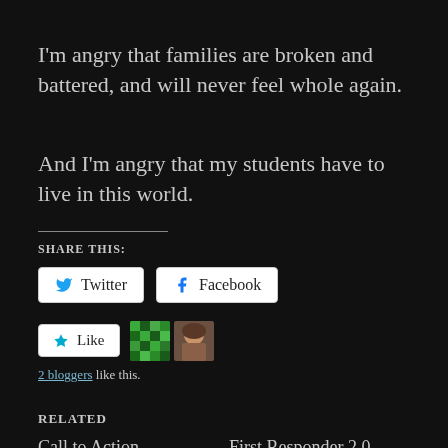I'm angry that families are broken and battered, and will never feel whole again.
And I'm angry that my students have to live in this world.
SHARE THIS:
Twitter  Facebook
Like  2 bloggers like this.
RELATED
Call to Action
June 21, 2017
First Responder 2.0
February 14, 2019